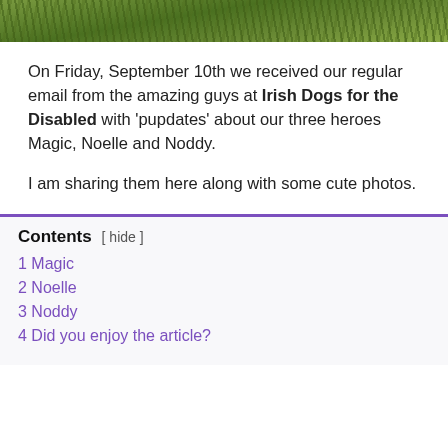[Figure (photo): Top strip showing grass/green outdoor background photo]
On Friday, September 10th we received our regular email from the amazing guys at Irish Dogs for the Disabled with 'pupdates' about our three heroes Magic, Noelle and Noddy.
I am sharing them here along with some cute photos.
Contents [ hide ]
1 Magic
2 Noelle
3 Noddy
4 Did you enjoy the article?